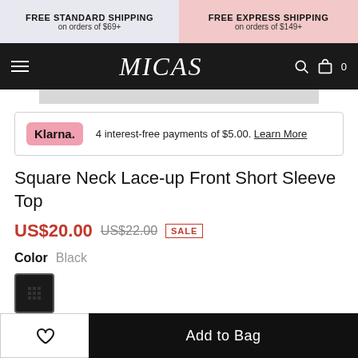FREE STANDARD SHIPPING on orders of $69+  |  FREE EXPRESS SHIPPING on orders of $149+
[Figure (logo): MICAS brand navigation bar with hamburger menu, logo, search and bag icons]
4 interest-free payments of $5.00. Learn More
Square Neck Lace-up Front Short Sleeve Top
US$20.00  US$22.00  SALE
Color  Black
[Figure (other): Black fabric color swatch thumbnail]
Size  S
Add to Bag